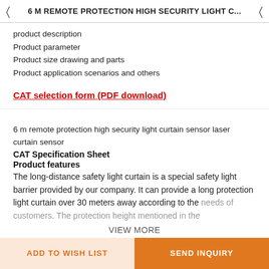6 M REMOTE PROTECTION HIGH SECURITY LIGHT C...
product description
Product parameter
Product size drawing and parts
Product application scenarios and others
CAT selection form (PDF download)
6 m remote protection high security light curtain sensor laser curtain sensor
CAT Specification Sheet
Product features
The long-distance safety light curtain is a special safety light barrier provided by our company. It can provide a long protection light curtain over 30 meters away according to the needs of customers. The protection height mentioned in the
VIEW MORE
ADD TO WISH LIST | SEND INQUIRY